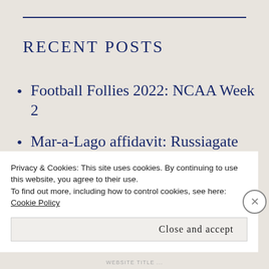RECENT POSTS
Football Follies 2022: NCAA Week 2
Mar-a-Lago affidavit: Russiagate rides again
Football Follies 2022: NCAA ...
Privacy & Cookies: This site uses cookies. By continuing to use this website, you agree to their use.
To find out more, including how to control cookies, see here:
Cookie Policy
Close and accept